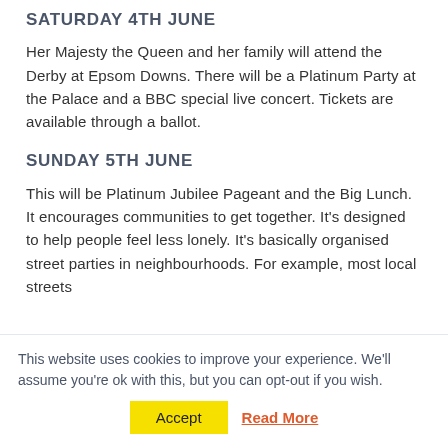SATURDAY 4TH JUNE
Her Majesty the Queen and her family will attend the Derby at Epsom Downs. There will be a Platinum Party at the Palace and a BBC special live concert. Tickets are available through a ballot.
SUNDAY 5TH JUNE
This will be Platinum Jubilee Pageant and the Big Lunch. It encourages communities to get together. It’s designed to help people feel less lonely. It’s basically organised street parties in neighbourhoods. For example, most local streets
This website uses cookies to improve your experience. We’ll assume you’re ok with this, but you can opt-out if you wish.
Accept   Read More